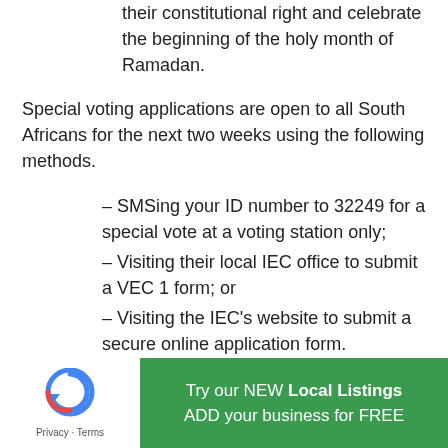their constitutional right and celebrate the beginning of the holy month of Ramadan.
Special voting applications are open to all South Africans for the next two weeks using the following methods.
– SMSing your ID number to 32249 for a special vote at a voting station only;
– Visiting their local IEC office to submit a VEC 1 form; or
– Visiting the IEC's website to submit a secure online application form.
More: The Citizen
[Figure (logo): reCAPTCHA logo with Privacy and Terms text below]
Try our NEW Local Listings ADD your business for FREE